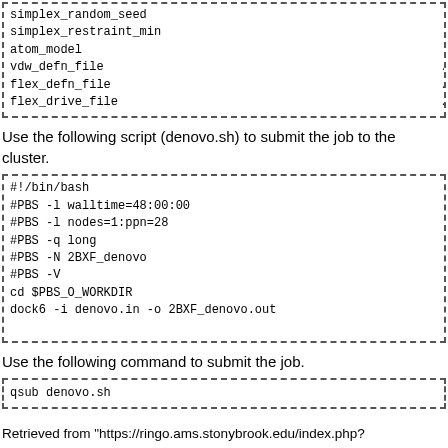simplex_random_seed   0
simplex_restraint_min   no
atom_model   all
vdw_defn_file   /gpfs/pro
flex_defn_file   /gpfs/pro
flex_drive_file   /gpfs/pro
Use the following script (denovo.sh) to submit the job to the cluster.
#!/bin/bash
#PBS -l walltime=48:00:00
#PBS -l nodes=1:ppn=28
#PBS -q long
#PBS -N 2BXF_denovo
#PBS -V
cd $PBS_O_WORKDIR
dock6 -i denovo.in -o 2BXF_denovo.out
Use the following command to submit the job.
qsub denovo.sh
Retrieved from "https://ringo.ams.stonybrook.edu/index.php?title=2019_Denovo_design_tutorial_1_with_PDB_2BXF&oldid=1179